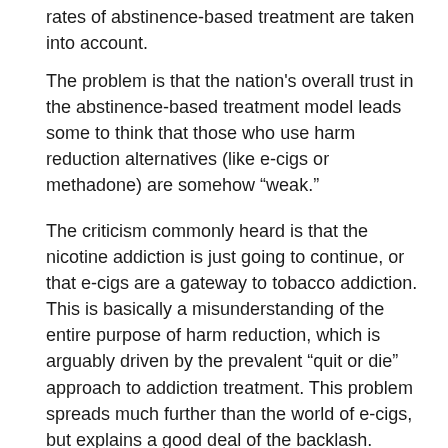rates of abstinence-based treatment are taken into account.
The problem is that the nation's overall trust in the abstinence-based treatment model leads some to think that those who use harm reduction alternatives (like e-cigs or methadone) are somehow “weak.”
The criticism commonly heard is that the nicotine addiction is just going to continue, or that e-cigs are a gateway to tobacco addiction. This is basically a misunderstanding of the entire purpose of harm reduction, which is arguably driven by the prevalent “quit or die” approach to addiction treatment. This problem spreads much further than the world of e-cigs, but explains a good deal of the backlash.